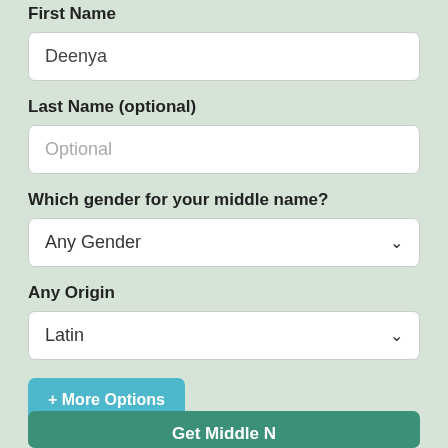First Name
Deenya
Last Name (optional)
Optional
Which gender for your middle name?
Any Gender
Any Origin
Latin
+ More Options
Get Middle N…